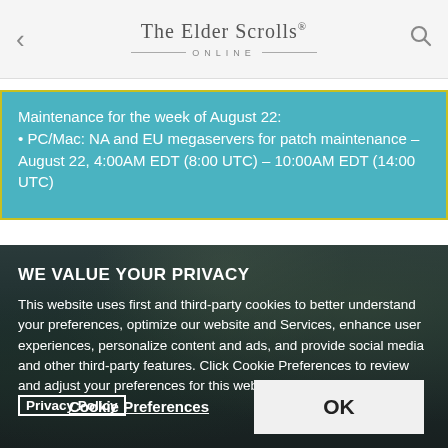The Elder Scrolls Online
Maintenance for the week of August 22:
• PC/Mac: NA and EU megaservers for patch maintenance – August 22, 4:00AM EDT (8:00 UTC) – 10:00AM EDT (14:00 UTC)
WE VALUE YOUR PRIVACY
This website uses first and third-party cookies to better understand your preferences, optimize our website and Services, enhance user experiences, personalize content and ads, and provide social media and other third-party features. Click Cookie Preferences to review and adjust your preferences for this website. More information: Privacy Policy
Cookie Preferences | OK